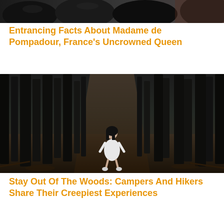[Figure (photo): Top portion of an image showing dark garbage bags and items, partially visible at top of page]
Entrancing Facts About Madame de Pompadour, France’s Uncrowned Queen
[Figure (photo): A girl in a white dress sitting alone in a dark forest with tall trees lining a path]
Stay Out Of The Woods: Campers And Hikers Share Their Creepiest Experiences